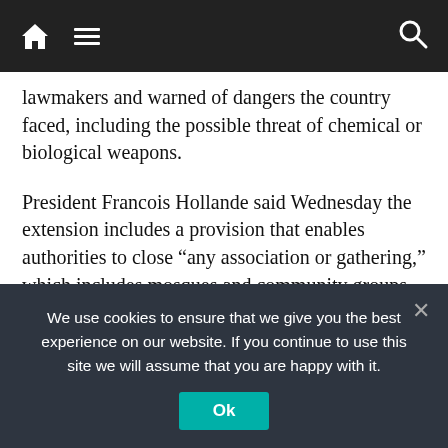Navigation bar with home, menu, and search icons
lawmakers and warned of dangers the country faced, including the possible threat of chemical or biological weapons.
President Francois Hollande said Wednesday the extension includes a provision that enables authorities to close “any association or gathering,” which includes mosques and community groups, where people are “glorifying terrorism” or encouraging people to carry out terrorist acts. The bill has drawn criticism from rights activists.
Police officials said Thursday that as long as the emergency
We use cookies to ensure that we give you the best experience on our website. If you continue to use this site we will assume that you are happy with it.